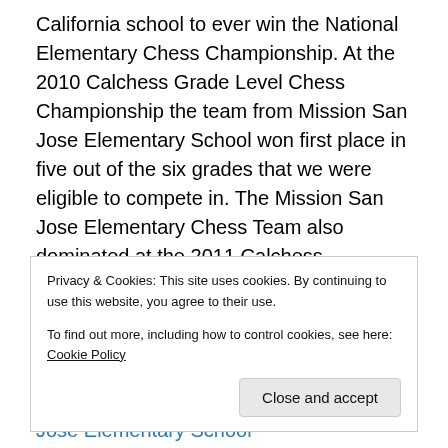California school to ever win the National Elementary Chess Championship. At the 2010 Calchess Grade Level Chess Championship the team from Mission San Jose Elementary School won first place in five out of the six grades that we were eligible to compete in. The Mission San Jose Elementary Chess Team also dominated at the 2011 Calchess Scholastic Chess Championships by placing first in two of the three sections we participated in. Make the right move by signing your child up for the 2011 Fremont Summer Chess Camp at Mission San Jose Elementary School
Privacy & Cookies: This site uses cookies. By continuing to use this website, you agree to their use. To find out more, including how to control cookies, see here: Cookie Policy